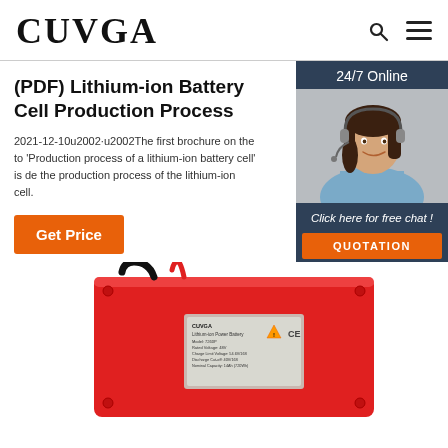CUVGA
(PDF) Lithium-ion Battery Cell Production Process
2021-12-10u2002·u2002The first brochure on the to 'Production process of a lithium-ion battery cell' is de the production process of the lithium-ion cell.
Get Price
[Figure (photo): Customer service agent with headset, smiling, with '24/7 Online' banner, 'Click here for free chat!' text and 'QUOTATION' button on dark blue background]
[Figure (photo): Red lithium-ion battery pack with CUVGA label and wiring, partially visible at bottom of page]